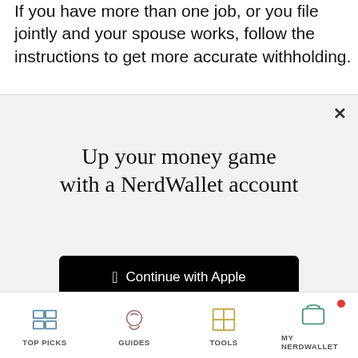If you have more than one job, or you file jointly and your spouse works, follow the instructions to get more accurate withholding.
Up your money game with a NerdWallet account
[Figure (screenshot): Modal dialog with Apple and Google sign-in buttons and email option]
or continue with email
By signing up, I agree to NerdWallet's Terms of Service and Privacy Policy.
TOP PICKS   GUIDES   TOOLS   MY NERDWALLET